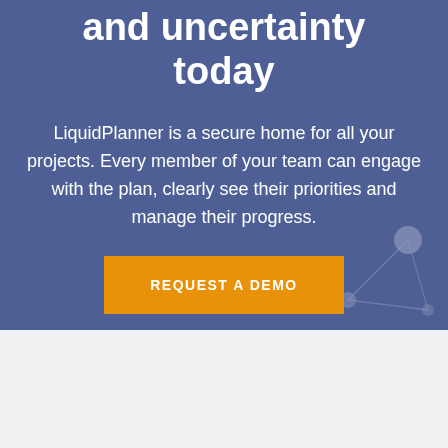and uncertainty today
LiquidPlanner is a secure home for all your projects. Every member of your team can engage with the plan, clearly see their priorities and manage their progress.
REQUEST A DEMO
[Figure (logo): LiquidPlanner logo with wave symbol and registered trademark, bold 'Liquid' dark text, regular 'Planner' text]
The Planning Intelligence Company